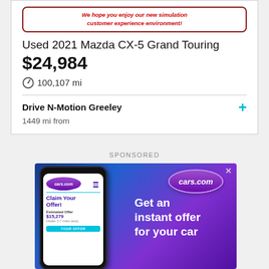We hope you enjoy our new simulation customer experience environment!
Used 2021 Mazda CX-5 Grand Touring
$24,984
100,107 mi
Drive N-Motion Greeley
1449 mi from
SPONSORED
[Figure (screenshot): cars.com advertisement showing a smartphone with 'Claim Your Offer! Estimated Offer $15,279 Dealer 3.7 miles away YOUR OFFER' and text 'Get an instant offer for your car' with cars.com logo]